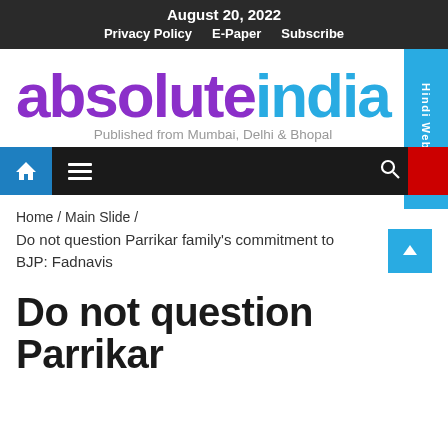August 20, 2022
Privacy Policy   E-Paper   Subscribe
[Figure (logo): Absolute India logo with 'absolute' in purple and 'india' in blue, tagline: Published from Mumbai, Delhi & Bhopal]
[Figure (screenshot): Navigation bar with home icon, hamburger menu, search icon, red block, and Hindi Website side tab]
Home / Main Slide /
Do not question Parrikar family's commitment to BJP: Fadnavis
Do not question Parrikar